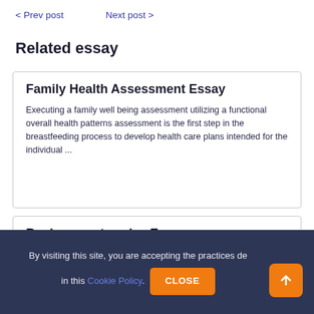< Prev post    Next post >
Related essay
Family Health Assessment Essay
Executing a family well being assessment utilizing a functional overall health patterns assessment is the first step in the breastfeeding process to develop health care plans intended for the individual ...
Business enterprise Essay
– Design an online site for a business enterprise, meeting end
By visiting this site, you are accepting the practices described in this Cookie Policy.
CLOSE